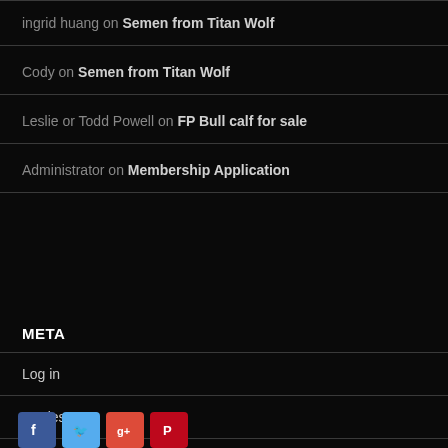ingrid huang on Semen from Titan Wolf
Cody on Semen from Titan Wolf
Leslie or Todd Powell on FP Bull calf for sale
Administrator on Membership Application
META
Log in
Entries RSS
Comments RSS
WordPress.org